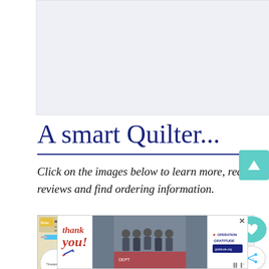[Figure (other): Large light gray/blue header banner image area at top of page]
A smart Quilter...
Click on the images below to learn more, read reviews and find ordering information.
[Figure (photo): Dritz Machine Needle Inserter & Threader product packaging showing blue threader tool with two circular detail insets]
[Figure (photo): Vacuum attachment hose kit with multiple small black vacuum attachments on white background]
[Figure (photo): Yellow and black extension cord reel with power outlets]
keeps her...
has enough power
[Figure (other): Advertisement banner: thank you message with Operation Gratitude logo showing firefighters]
[Figure (other): Teal colored share/heart overlay buttons on right side]